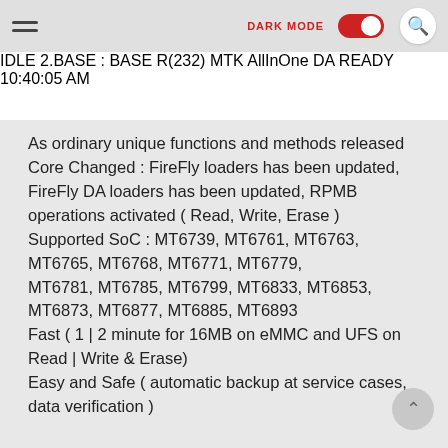DARK MODE [toggle] [search]
[Figure (screenshot): Screenshot strip showing a dark application window with a status bar at the bottom displaying RULE, 2.BASE:BASE R(232) MTK AllInOne DA, READY, and a timestamp.]
As ordinary unique functions and methods released Core Changed : FireFly loaders has been updated, FireFly DA loaders has been updated, RPMB operations activated ( Read, Write, Erase ) Supported SoC : MT6739, MT6761, MT6763, MT6765, MT6768, MT6771, MT6779, MT6781, MT6785, MT6799, MT6833, MT6853, MT6873, MT6877, MT6885, MT6893 Fast ( 1 | 2 minute for 16MB on eMMC and UFS on Read | Write & Erase) Easy and Safe ( automatic backup at service cases, data verification )